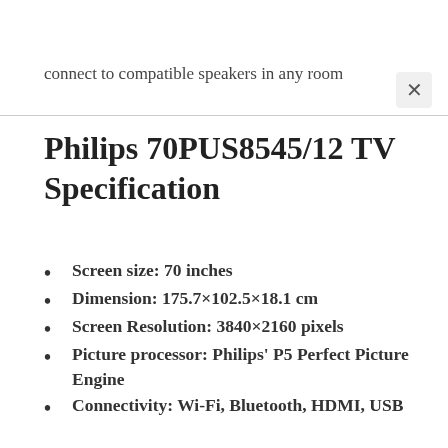connect to compatible speakers in any room
Philips 70PUS8545/12 TV Specification
Screen size: 70 inches
Dimension: 175.7×102.5×18.1 cm
Screen Resolution: 3840×2160 pixels
Picture processor: Philips' P5 Perfect Picture Engine
Connectivity: Wi-Fi, Bluetooth, HDMI, USB